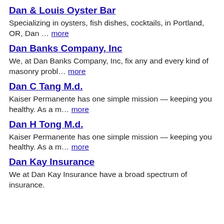Dan & Louis Oyster Bar
Specializing in oysters, fish dishes, cocktails, in Portland, OR, Dan … more
Dan Banks Company, Inc
We, at Dan Banks Company, Inc, fix any and every kind of masonry probl… more
Dan C Tang M.d.
Kaiser Permanente has one simple mission — keeping you healthy. As a m… more
Dan H Tong M.d.
Kaiser Permanente has one simple mission — keeping you healthy. As a m… more
Dan Kay Insurance
We at Dan Kay Insurance have a broad spectrum of insurance.